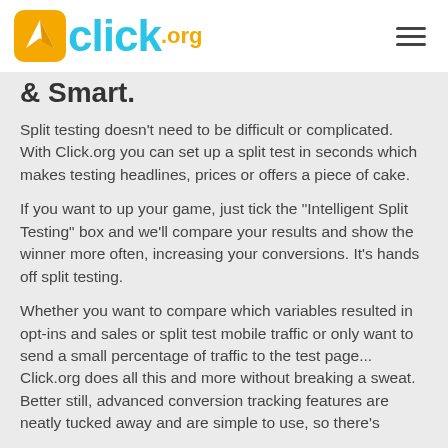click.org
& Smart.
Split testing doesn't need to be difficult or complicated. With Click.org you can set up a split test in seconds which makes testing headlines, prices or offers a piece of cake.
If you want to up your game, just tick the "Intelligent Split Testing" box and we'll compare your results and show the winner more often, increasing your conversions. It's hands off split testing.
Whether you want to compare which variables resulted in opt-ins and sales or split test mobile traffic or only want to send a small percentage of traffic to the test page... Click.org does all this and more without breaking a sweat. Better still, advanced conversion tracking features are neatly tucked away and are simple to use, so there's